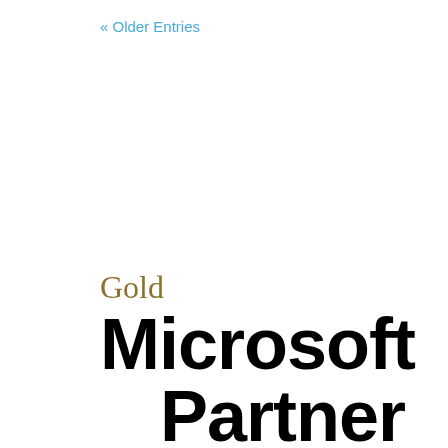« Older Entries
[Figure (logo): Gold Microsoft Partner logo text: 'Gold' in gold/olive color, 'Microsoft' in large black sans-serif, 'Partner' in large black sans-serif]